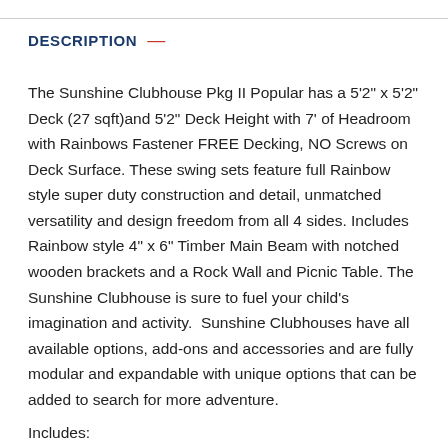DESCRIPTION —
The Sunshine Clubhouse Pkg II Popular has a 5'2" x 5'2" Deck (27 sqft)and 5'2" Deck Height with 7' of Headroom with Rainbows Fastener FREE Decking, NO Screws on Deck Surface. These swing sets feature full Rainbow style super duty construction and detail, unmatched versatility and design freedom from all 4 sides. Includes Rainbow style 4" x 6" Timber Main Beam with notched wooden brackets and a Rock Wall and Picnic Table. The Sunshine Clubhouse is sure to fuel your child's imagination and activity.  Sunshine Clubhouses have all available options, add-ons and accessories and are fully modular and expandable with unique options that can be added to search for more adventure.
Includes: